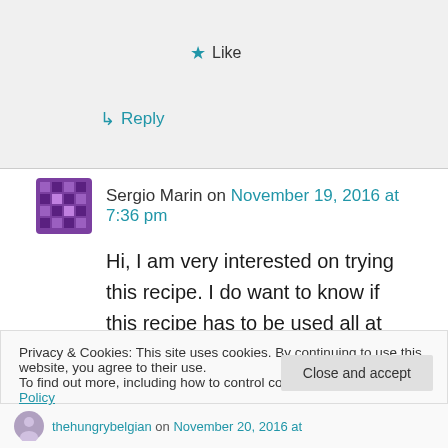★ Like
↳ Reply
Sergio Marin on November 19, 2016 at 7:36 pm
Hi, I am very interested on trying this recipe. I do want to know if this recipe has to be used all at once or if you, or anyone you know, has tried to keep this recipe on the refrigerator and then use it the next day or even two days later.
Privacy & Cookies: This site uses cookies. By continuing to use this website, you agree to their use.
To find out more, including how to control cookies, see here: Cookie Policy
Close and accept
thehungrybelgian on November 20, 2016 at